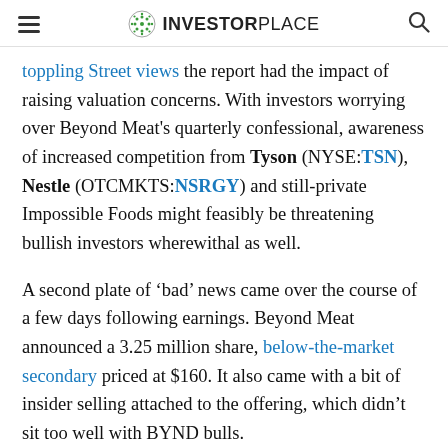INVESTORPLACE
toppling Street views the report had the impact of raising valuation concerns. With investors worrying over Beyond Meat's quarterly confessional, awareness of increased competition from Tyson (NYSE:TSN), Nestle (OTCMKTS:NSRGY) and still-private Impossible Foods might feasibly be threatening bullish investors wherewithal as well.
A second plate of ‘bad’ news came over the course of a few days following earnings. Beyond Meat announced a 3.25 million share, below-the-market secondary priced at $160. It also came with a bit of insider selling attached to the offering, which didn’t sit too well with BYND bulls.